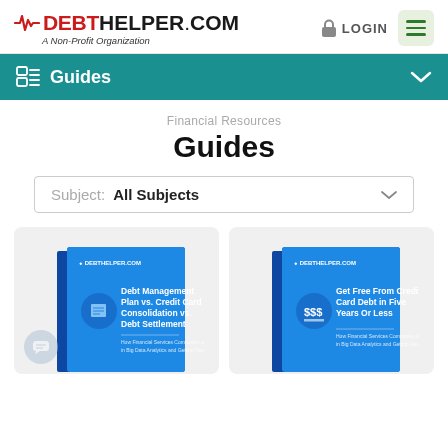DEBTHELPER.COM — A Non-Profit Organization | LOGIN
Guides
Financial Resources
Guides
Subject: All Subjects
[Figure (illustration): Book cover for 'Debt Management Plan vs. Credit Card Consolidation vs. Debt Settlement' guide from DebtHelper.com]
[Figure (illustration): Book cover for 'Get Free From Credit Card Debt in Five Years Or Less' guide from DebtHelper.com]